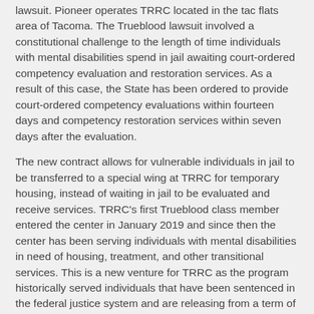lawsuit. Pioneer operates TRRC located in the tac flats area of Tacoma. The Trueblood lawsuit involved a constitutional challenge to the length of time individuals with mental disabilities spend in jail awaiting court-ordered competency evaluation and restoration services. As a result of this case, the State has been ordered to provide court-ordered competency evaluations within fourteen days and competency restoration services within seven days after the evaluation.
The new contract allows for vulnerable individuals in jail to be transferred to a special wing at TRRC for temporary housing, instead of waiting in jail to be evaluated and receive services. TRRC's first Trueblood class member entered the center in January 2019 and since then the center has been serving individuals with mental disabilities in need of housing, treatment, and other transitional services. This is a new venture for TRRC as the program historically served individuals that have been sentenced in the federal justice system and are releasing from a term of incarceration with the Federal Bureau of Prisons, or are on pre and post-conviction supervision with United States Probation and Pre-Trial Services.
"We are very excited to be involved in this amazing opportunity to help our local community in assisting a population of individuals that are in need of a chance for change," stated Joe Miller, TRRC program director.
Pioneer's new partnership with CCS will provide Trueblood class members, many of which have been chronically homeless or incarcerated,